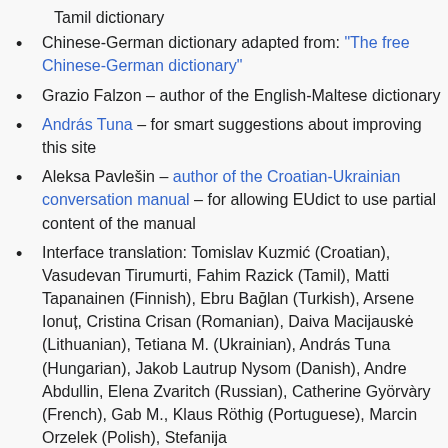Tamil dictionary
Chinese-German dictionary adapted from: "The free Chinese-German dictionary"
Grazio Falzon – author of the English-Maltese dictionary
András Tuna – for smart suggestions about improving this site
Aleksa Pavlešin – author of the Croatian-Ukrainian conversation manual – for allowing EUdict to use partial content of the manual
Interface translation: Tomislav Kuzmić (Croatian), Vasudevan Tirumurti, Fahim Razick (Tamil), Matti Tapanainen (Finnish), Ebru Bağlan (Turkish), Arsene Ionuț, Cristina Crisan (Romanian), Daiva Macijauskė (Lithuanian), Tetiana M. (Ukrainian), András Tuna (Hungarian), Jakob Lautrup Nysom (Danish), Andre Abdullin, Elena Zvaritch (Russian), Catherine Györvàry (French), Gab M., Klaus Röthig (Portuguese), Marcin Orzelek (Polish), Stefanija